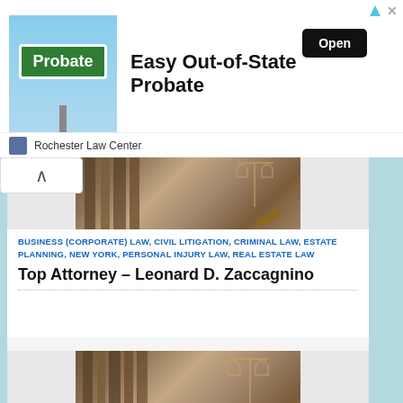[Figure (illustration): Advertisement banner: Probate road sign image with text 'Easy Out-of-State Probate', Open button, Rochester Law Center sponsor]
[Figure (photo): Photo of law books and scales of justice on a desk - first attorney listing]
BUSINESS (CORPORATE) LAW, CIVIL LITIGATION, CRIMINAL LAW, ESTATE PLANNING, NEW YORK, PERSONAL INJURY LAW, REAL ESTATE LAW
Top Attorney – Leonard D. Zaccagnino
[Figure (photo): Photo of law books, scales of justice and gavel - second attorney listing]
NEW YORK, PERSONAL INJURY LAW
Top Attorney – Kevin B. McAndrew